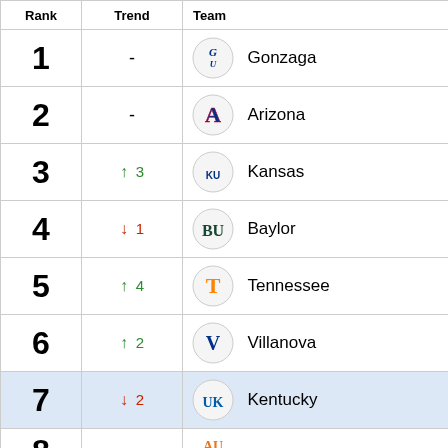| Rank | Trend | Team |
| --- | --- | --- |
| 1 | - | Gonzaga |
| 2 | - | Arizona |
| 3 | ↑ 3 | Kansas |
| 4 | ↓ 1 | Baylor |
| 5 | ↑ 4 | Tennessee |
| 6 | ↑ 2 | Villanova |
| 7 | ↓ 2 | Kentucky |
| 8 |  | Auburn |